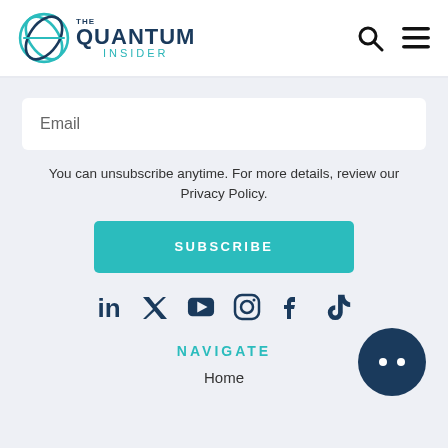[Figure (logo): The Quantum Insider logo with circular wave icon and text]
Email
You can unsubscribe anytime. For more details, review our Privacy Policy.
SUBSCRIBE
[Figure (infographic): Social media icons row: LinkedIn, Twitter, YouTube, Instagram, Facebook, TikTok]
NAVIGATE
Home